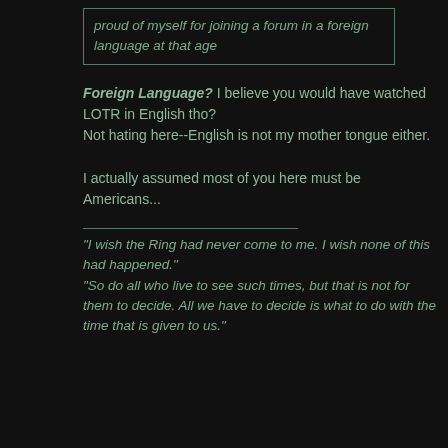proud of myself for joining a forum in a foreign language at that age
Foreign Language? I believe you would have watched LOTR in English tho? Not hating here--English is not my mother tongue either.

I actually assumed most of you here must be Americans...
"I wish the Ring had never come to me. I wish none of this had happened." "So do all who live to see such times, but that is not for them to decide. All we have to decide is what to do with the time that is given to us."
04-17-2021, 12:02 PM
#36
Galadriel55
Quote: